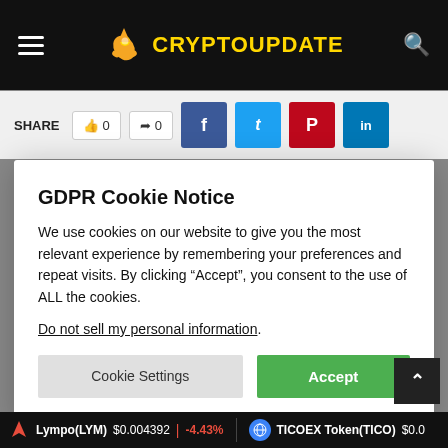CRYPTOUPDATE
SHARE  0  0
GDPR Cookie Notice
We use cookies on our website to give you the most relevant experience by remembering your preferences and repeat visits. By clicking “Accept”, you consent to the use of ALL the cookies.
Do not sell my personal information.
Cookie Settings  Accept
Gold Mathematics
Lympo(LYM)  $0.004392  -4.43%    TICOEX Token(TICO)  $0.0